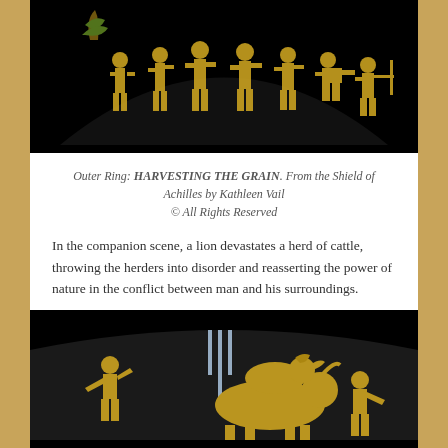[Figure (photo): A black background artifact/artwork showing golden ancient Greek figures harvesting grain, arranged in a fan or arc shape, depicting the outer ring of the Shield of Achilles.]
Outer Ring: HARVESTING THE GRAIN. From the Shield of Achilles by Kathleen Vail
© All Rights Reserved
In the companion scene, a lion devastates a herd of cattle, throwing the herders into disorder and reasserting the power of nature in the conflict between man and his surroundings.
[Figure (photo): A black background artwork showing golden ancient Greek figures and animals including a lion attacking cattle herders, from the Shield of Achilles by Kathleen Vail.]